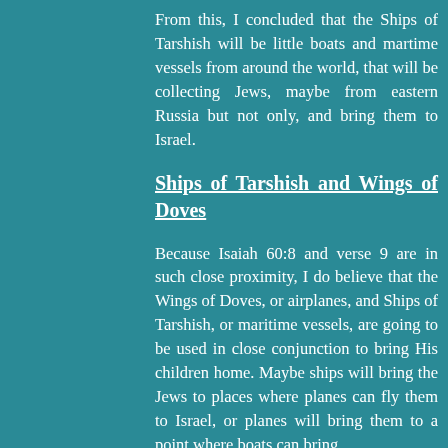From this, I concluded that the Ships of Tarshish will be little boats and martime vessels from around the world, that will be collecting Jews, maybe from eastern Russia but not only, and bring them to Israel.
Ships of Tarshish and Wings of Doves
Because Isaiah 60:8 and verse 9 are in such close proximity, I do believe that the Wings of Doves, or airplanes, and Ships of Tarshish, or maritime vessels, are going to be used in close conjunction to bring His children home. Maybe ships will bring the Jews to places where planes can fly them to Israel, or planes will bring them to a point where boats can bring